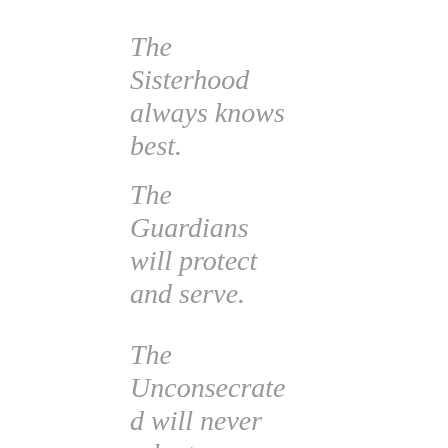The Sisterhood always knows best.
The Guardians will protect and serve.
The Unconsecrated will never relent.
And you must always mind the fence that surrounds